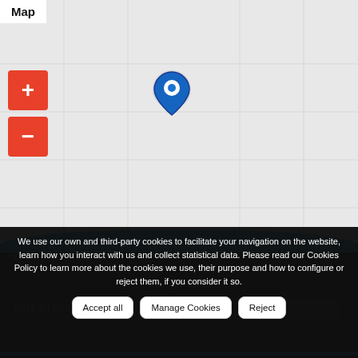[Figure (map): Interactive map with zoom in/out buttons (red squares with + and -) and a blue location pin marker in the center]
Map
We use our own and third-party cookies to facilitate your navigation on the website, learn how you interact with us and collect statistical data. Please read our Cookies Policy to learn more about the cookies we use, their purpose and how to configure or reject them, if you consider it so.
Accept all | Manage Cookies | Reject
CONTACT US
QUESTION?